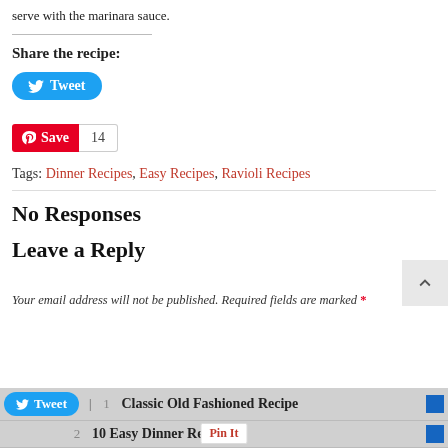serve with the marinara sauce.
Share the recipe:
[Figure (other): Tweet button (Twitter/X share button, blue rounded, with bird icon and 'Tweet' label)]
[Figure (other): Pinterest Save button (red) with count badge showing 14]
Tags: Dinner Recipes, Easy Recipes, Ravioli Recipes
No Responses
Leave a Reply
Your email address will not be published. Required fields are marked *
1  Classic Old Fashioned Recipe
10 Easy Dinner Recipes
[Figure (other): Tweet button at bottom bar]
Pin It